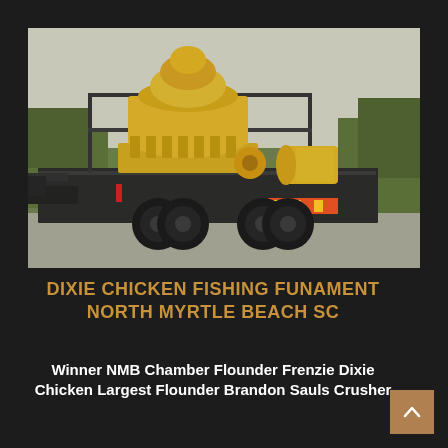[Figure (photo): A yellow cone crusher mounted on a heavy-duty flatbed trailer with dual rear axles, parked outdoors. The crusher is a large yellow industrial machine with a cylindrical top section and a yellow electric motor mounted to the side. The trailer is black/dark colored with safety markings.]
DIXIE CHICKEN FISHING FUNAMENT NORTH MYRTLE BEACH SC
Winner NMB Chamber Flounder Frenzie Dixie Chicken Largest Flounder Brandon Sauls Crusher